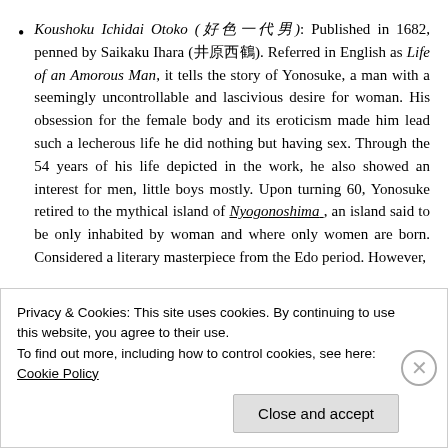Koushoku Ichidai Otoko (好色一代男): Published in 1682, penned by Saikaku Ihara (井原西鶴). Referred in English as Life of an Amorous Man, it tells the story of Yonosuke, a man with a seemingly uncontrollable and lascivious desire for woman. His obsession for the female body and its eroticism made him lead such a lecherous life he did nothing but having sex. Through the 54 years of his life depicted in the work, he also showed an interest for men, little boys mostly. Upon turning 60, Yonosuke retired to the mythical island of Nyogonoshima , an island said to be only inhabited by woman and where only women are born. Considered a literary masterpiece from the Edo period. However,
Privacy & Cookies: This site uses cookies. By continuing to use this website, you agree to their use.
To find out more, including how to control cookies, see here: Cookie Policy